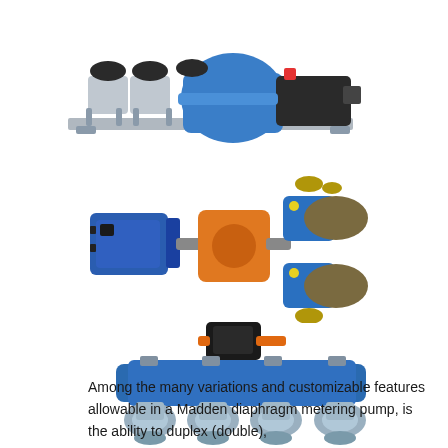[Figure (photo): Madden diaphragm metering pump – duplex configuration, blue pump body with silver/chrome fluid ends and motor on right, mounted on a base plate]
[Figure (photo): Madden diaphragm metering pump – duplex configuration with blue electric motor on left, orange gearbox center, and two blue pump heads with bronze/chrome fluid ends]
[Figure (photo): Madden diaphragm metering pump – multiplex (quadruplex) configuration with black motor on top-center, blue pump body, and four stainless steel fluid end heads]
Among the many variations and customizable features allowable in a Madden diaphragm metering pump, is the ability to duplex (double),